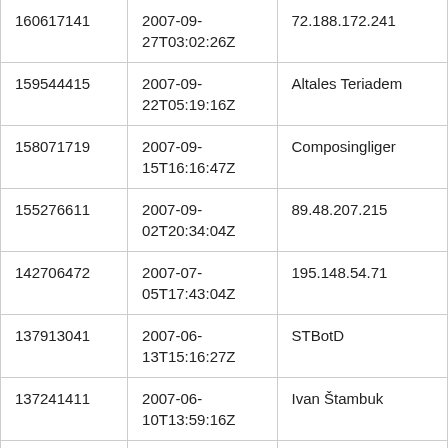| 160617141 | 2007-09-27T03:02:26Z | 72.188.172.241 |
| 159544415 | 2007-09-22T05:19:16Z | Altales Teriadem |
| 158071719 | 2007-09-15T16:16:47Z | Composingliger |
| 155276611 | 2007-09-02T20:34:04Z | 89.48.207.215 |
| 142706472 | 2007-07-05T17:43:04Z | 195.148.54.71 |
| 137913041 | 2007-06-13T15:16:27Z | STBotD |
| 137241411 | 2007-06-10T13:59:16Z | Ivan Štambuk |
| 136359889 | 2007-06-06T14:26:26Z | 68.175.102.110 |